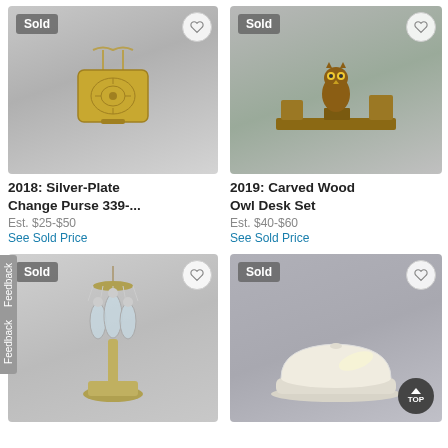[Figure (photo): Gold/silver decorative change purse with chain strap, ornate filigree pattern, shown on grey background. Sold badge top-left, heart icon top-right.]
2018: Silver-Plate Change Purse 339-...
Est. $25-$50
See Sold Price
[Figure (photo): Carved wood owl desk set on wooden platform with small wooden boxes, owl figurine in center. Sold badge top-left, heart icon top-right.]
2019: Carved Wood Owl Desk Set
Est. $40-$60
See Sold Price
[Figure (photo): Ornate glass and metal chandelier/cruet set on brass base with hanging crystal elements. Sold badge top-left, heart icon top-right.]
[Figure (photo): White ceramic butter dish with lid on plate, plain simple design. Sold badge top-left, heart icon top-right.]